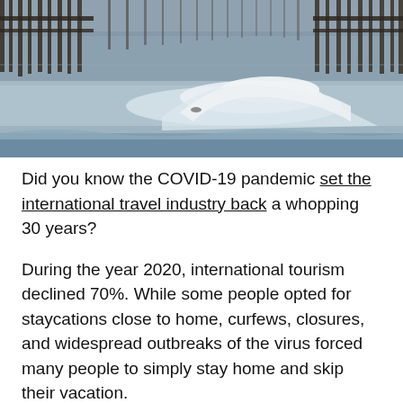[Figure (photo): Beach scene showing ocean waves crashing near a pier with wooden pillars extending into the water. Rough surf is visible with a large wave breaking, and the pier structure dominates the upper portion of the image.]
Did you know the COVID-19 pandemic set the international travel industry back a whopping 30 years?
During the year 2020, international tourism declined 70%. While some people opted for staycations close to home, curfews, closures, and widespread outbreaks of the virus forced many people to simply stay home and skip their vacation.
North Carolina has been gradually lifting its COVID restrictions, and by summer 2021, you can begin to enjoy the Outer Banks with your